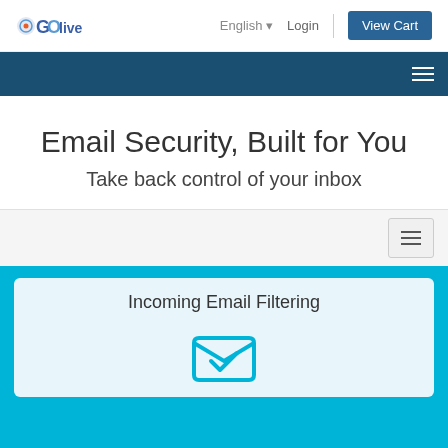GOlive — English | Login | View Cart
[Figure (screenshot): Dark blue navigation bar with hamburger menu icon on right]
Email Security, Built for You
Take back control of your inbox
[Figure (screenshot): Light grey section with outlined hamburger menu button on right]
Incoming Email Filtering
[Figure (illustration): Cyan/teal envelope open icon]